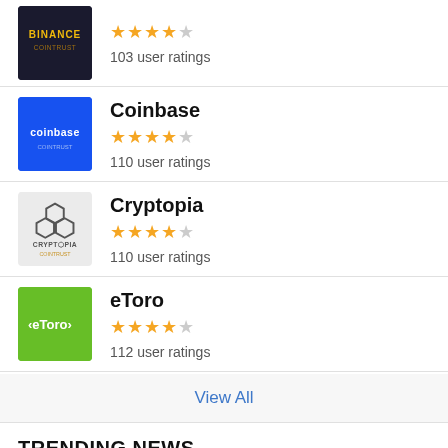[Figure (logo): Binance exchange logo with gold text on dark background]
103 user ratings
[Figure (logo): Coinbase exchange logo with white text on blue background]
Coinbase
110 user ratings
[Figure (logo): Cryptopia exchange logo with hexagon icons on grey background]
Cryptopia
110 user ratings
[Figure (logo): eToro exchange logo with white text on green background]
eToro
112 user ratings
View All
TRENDING NEWS